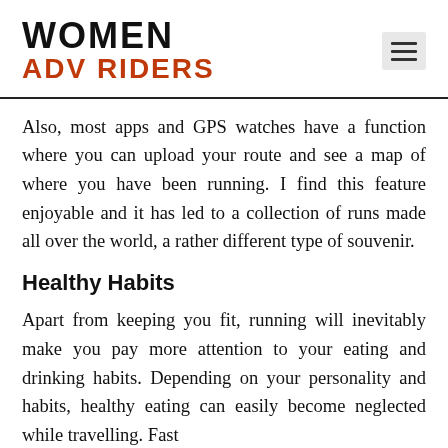WOMEN ADV RIDERS
Also, most apps and GPS watches have a function where you can upload your route and see a map of where you have been running. I find this feature enjoyable and it has led to a collection of runs made all over the world, a rather different type of souvenir.
Healthy Habits
Apart from keeping you fit, running will inevitably make you pay more attention to your eating and drinking habits. Depending on your personality and habits, healthy eating can easily become neglected while travelling. Fast